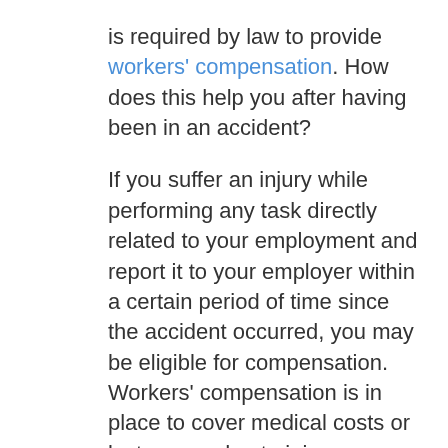is required by law to provide workers' compensation. How does this help you after having been in an accident?

If you suffer an injury while performing any task directly related to your employment and report it to your employer within a certain period of time since the accident occurred, you may be eligible for compensation. Workers' compensation is in place to cover medical costs or lost wages due to injury.

But what happens if your employer or your employer's insurance company denies the validity of your accident claim? As frustrating as this may be, it's not unheard of. If you have run into a similar barrier, you may want to contact a Hill &